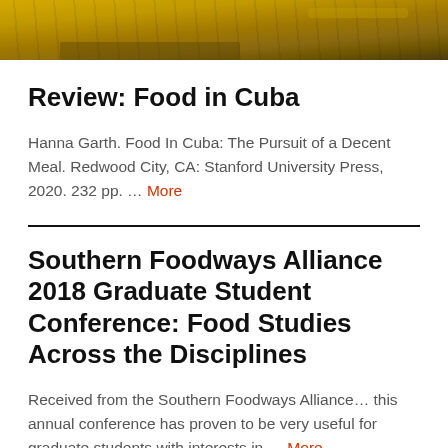[Figure (photo): Partial photo at top of page showing a yellow textured surface, likely food or painted ground, cropped at the top]
Review: Food in Cuba
Hanna Garth. Food In Cuba: The Pursuit of a Decent Meal. Redwood City, CA: Stanford University Press, 2020. 232 pp. … More
Southern Foodways Alliance 2018 Graduate Student Conference: Food Studies Across the Disciplines
Received from the Southern Foodways Alliance… this annual conference has proven to be very useful for graduate students with interests in … More